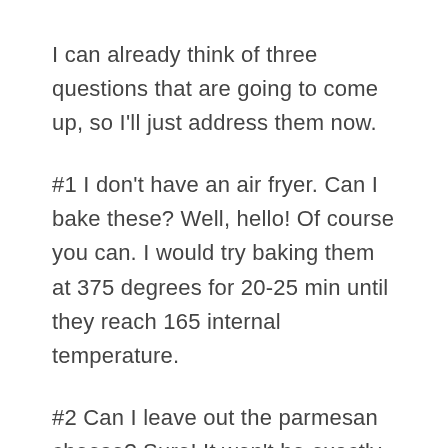I can already think of three questions that are going to come up, so I'll just address them now.
#1 I don't have an air fryer. Can I bake these? Well, hello! Of course you can. I would try baking them at 375 degrees for 20-25 min until they reach 165 internal temperature.
#2 Can I leave out the parmesan cheese? Sure! It won't be exactly the same texture and taste, but it will still work.